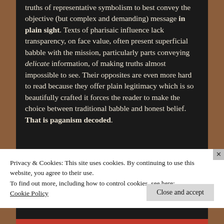truths of representative symbolism to best convey the objective (but complex and demanding) message in plain sight. Texts of pharisaic influence lack transparency, on face value, often present superficial babble with the mission, particularly parts conveying delicate information, of making truths almost impossible to see. Their opposites are even more hard to read because they offer plain legitimacy which is so beautifully crafted it forces the reader to make the choice between traditional babble and honest belief. That is paganism decoded.
Privacy & Cookies: This site uses cookies. By continuing to use this website, you agree to their use.
To find out more, including how to control cookies, see here: Cookie Policy